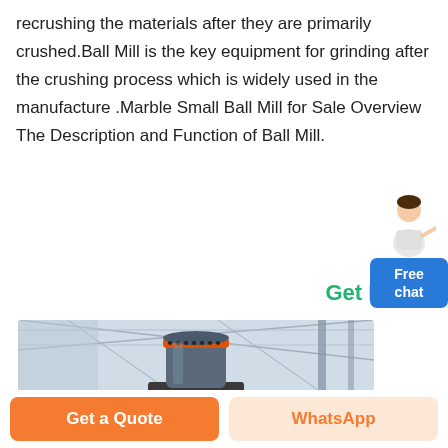recrushing the materials after they are primarily crushed.Ball Mill is the key equipment for grinding after the crushing process which is widely used in the manufacture .Marble Small Ball Mill for Sale Overview The Description and Function of Ball Mill.
Get Price
[Figure (photo): Industrial ball mill equipment in a factory/warehouse setting. A large cylindrical grey machine with an orange/red ring near the top is shown in a steel-framed industrial building.]
Get a Quote
WhatsApp